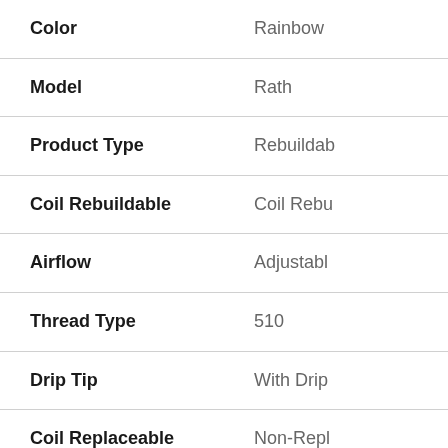| Attribute | Value |
| --- | --- |
| Color | Rainbow |
| Model | Rath |
| Product Type | Rebuildable |
| Coil Rebuildable | Coil Rebu... |
| Airflow | Adjustable |
| Thread Type | 510 |
| Drip Tip | With Drip |
| Coil Replaceable | Non-Replaceable |
| Resistance | 0.33ohm |